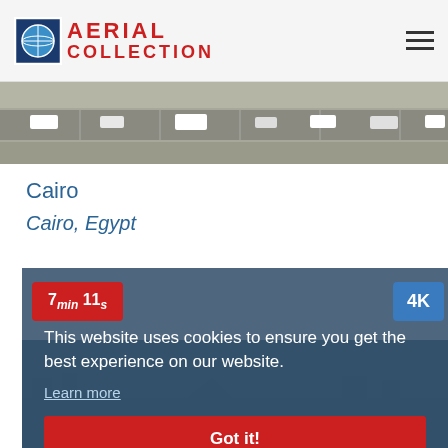AERIAL COLLECTION
[Figure (photo): Aerial view of a city road with traffic, wide multi-lane road with vehicles visible from above]
Cairo
Cairo, Egypt
[Figure (photo): Aerial video thumbnail showing Cairo cityscape with pyramids visible in hazy background, overlaid with cookie consent banner. Duration badge: 7min 11s (red). Quality badge: 4K (blue).]
This website uses cookies to ensure you get the best experience on our website.
Learn more
Got it!